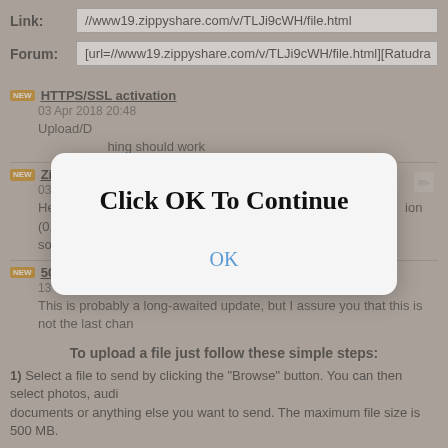Link: //www19.zippyshare.com/v/TLJi9cWH/file.html
Forum: [url=//www19.zippyshare.com/v/TLJi9cWH/file.html][Ratudra
HTTPS/SSL activation
03 Apr 2018 20:48
Upload/Download has been moved to the https protocol. Everything should work
ZippyUploader update, v0.99. Major performance boost
03 Dec 2017 21:00
Hey folks. A quick update. Today a new version (0.0.16.0) of th something ...
500MB - We just increased the file size limit
13 Nov 2017 00:08
This is probably a long-awaited update, but I assure you that this is not the last chan Cheers! ...
[Figure (screenshot): Modal dialog with text 'Click OK To Continue' and an OK button in blue]
To upload a file just follow these simple steps:
1) Select a file to send by clicking the "Browse" button. You can then select photos, audi documents or anything else you want to send. The maximum file size is 500 MB.